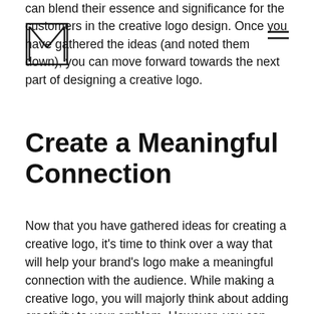[Figure (logo): Simple hand-drawn style logo icon composed of four lines forming an abstract N or M shape within a rectangle outline]
can blend their essence and significance for the customers in the creative logo design. Once you have gathered the ideas (and noted them down), you can move forward towards the next part of designing a creative logo.
Create a Meaningful Connection
Now that you have gathered ideas for creating a creative logo, it's time to think over a way that will help your brand's logo make a meaningful connection with the audience. While making a creative logo, you will majorly think about adding creativity to your emblem. However, you can make a stronger impact while showing creativity by incorporating the story of your business behind its logo design. This process will aid you in the design process, as you'll know the visual concept that needs to be portrayed as your brand's identity. What are your business's aims and goals? Is there any story behind its creation? A creative logo can